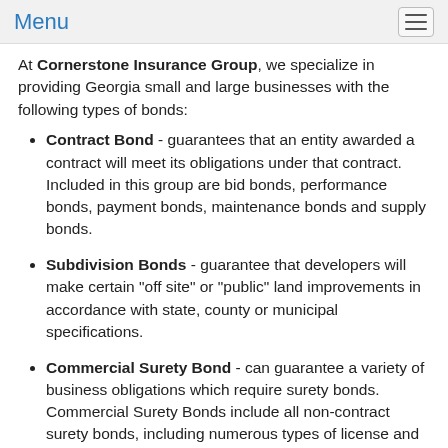Menu
At Cornerstone Insurance Group, we specialize in providing Georgia small and large businesses with the following types of bonds:
Contract Bond - guarantees that an entity awarded a contract will meet its obligations under that contract. Included in this group are bid bonds, performance bonds, payment bonds, maintenance bonds and supply bonds.
Subdivision Bonds - guarantee that developers will make certain "off site" or "public" land improvements in accordance with state, county or municipal specifications.
Commercial Surety Bond - can guarantee a variety of business obligations which require surety bonds. Commercial Surety Bonds include all non-contract surety bonds, including numerous types of license and permit, miscellaneous and court bonds.
License & Permit Bonds - guarantee that individuals granted a license or permit to operate a business or to